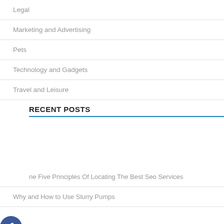Legal
Marketing and Advertising
Pets
Technology and Gadgets
Travel and Leisure
RECENT POSTS
ne Five Principles Of Locating The Best Seo Services
Why and How to Use Slurry Pumps